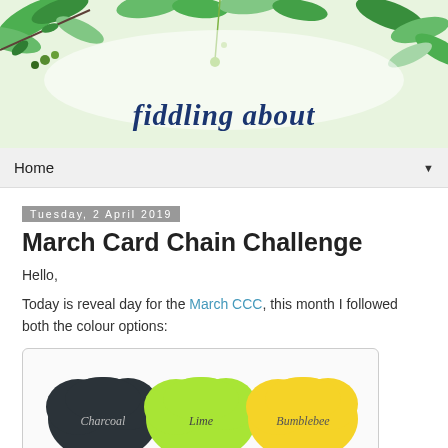[Figure (illustration): Blog header banner with watercolor green leaves and branches on light background, with 'fiddling about' written in dark blue italic script font in the center-lower area.]
Home ▼
Tuesday, 2 April 2019
March Card Chain Challenge
Hello,
Today is reveal day for the March CCC, this month I followed both the colour options:
[Figure (illustration): Three cloud-shaped color swatches labeled Charcoal (dark grey-green), Lime (bright yellow-green), and Bumblebee (yellow).]